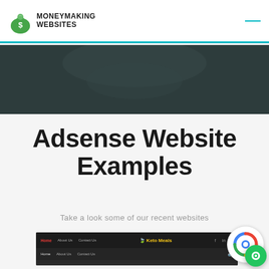[Figure (logo): MoneyMaking Websites logo with green money bag icon and bold text]
[Figure (photo): Dark teal/grey banner section with blurred background image]
Adsense Website Examples
Take a look some of our recent websites
[Figure (screenshot): Screenshot of a website with dark navigation bar showing logo 'Keto Meals']